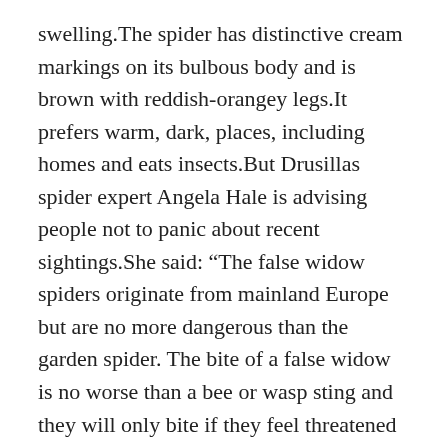swelling.The spider has distinctive cream markings on its bulbous body and is brown with reddish-orangey legs.It prefers warm, dark, places, including homes and eats insects.But Drusillas spider expert Angela Hale is advising people not to panic about recent sightings.She said: “The false widow spiders originate from mainland Europe but are no more dangerous than the garden spider. The bite of a false widow is no worse than a bee or wasp sting and they will only bite if they feel threatened or are provoked.” Angela spends a great deal of time trying to re-educate people about these mini monsters and she and her husband, fellow arachnophile Ray, will host ‘Spider Saturday’ at Drusillas on Saturday October 13 in an attempt to offer an insight into the amazing arachnid.